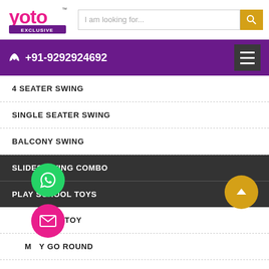[Figure (logo): Yoto Exclusive logo in pink and purple with TM mark]
I am looking for...
+91-9292924692
4 SEATER SWING
SINGLE SEATER SWING
BALCONY SWING
SLIDES SWING COMBO
PLAY SCHOOL TOYS
HOUSE TOY
MERRY GO ROUND
SAND PIT